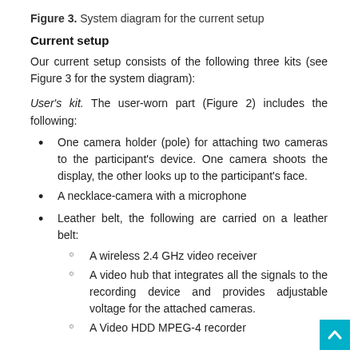Figure 3. System diagram for the current setup
Current setup
Our current setup consists of the following three kits (see Figure 3 for the system diagram):
User's kit. The user-worn part (Figure 2) includes the following:
One camera holder (pole) for attaching two cameras to the participant's device. One camera shoots the display, the other looks up to the participant's face.
A necklace-camera with a microphone
Leather belt, the following are carried on a leather belt:
A wireless 2.4 GHz video receiver
A video hub that integrates all the signals to the recording device and provides adjustable voltage for the attached cameras.
A Video HDD MPEG-4 recorder